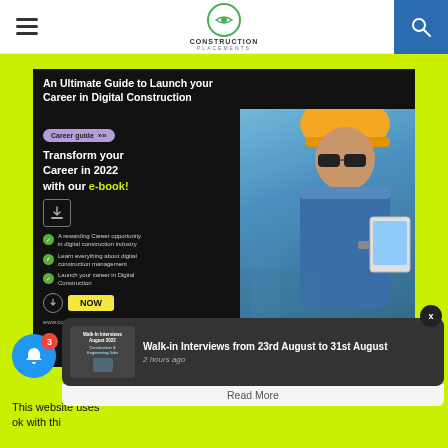Construction Placements
[Figure (photo): Promotional banner for Construction Placements e-book: 'An Ultimate Guide to Launch your Career in Digital Construction'. Shows a construction worker in yellow hard hat and sunglasses holding a tablet, alongside text: Transform your Career in 2022 with our e-book!, Career guide badge, checklist items, NOW download button, and www.constructionplacements.com URL.]
This website uses ... ok with thi...
[Figure (screenshot): Notification popup: Walk-in Interviews August 2022 Construction & Engineering Jobs thumbnail image with text overlay.]
Walk-in Interviews from 23rd August to 31st August
2 hours ago
Read More